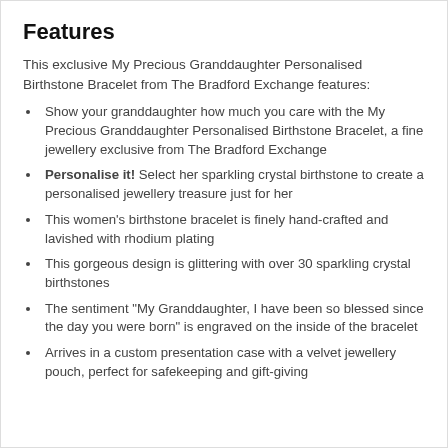Features
This exclusive My Precious Granddaughter Personalised Birthstone Bracelet from The Bradford Exchange features:
Show your granddaughter how much you care with the My Precious Granddaughter Personalised Birthstone Bracelet, a fine jewellery exclusive from The Bradford Exchange
Personalise it! Select her sparkling crystal birthstone to create a personalised jewellery treasure just for her
This women's birthstone bracelet is finely hand-crafted and lavished with rhodium plating
This gorgeous design is glittering with over 30 sparkling crystal birthstones
The sentiment "My Granddaughter, I have been so blessed since the day you were born" is engraved on the inside of the bracelet
Arrives in a custom presentation case with a velvet jewellery pouch, perfect for safekeeping and gift-giving